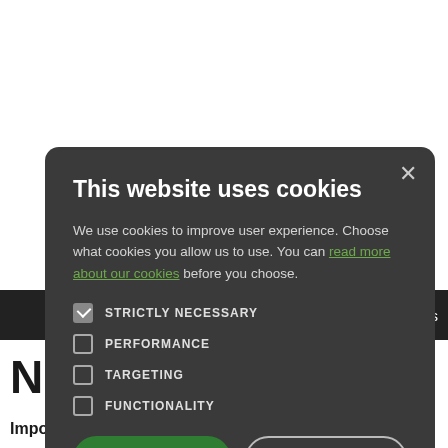This website uses cookies
We use cookies to improve user experience. Choose what cookies you allow us to use. You can read more about our cookies before you choose.
STRICTLY NECESSARY
PERFORMANCE
TARGETING
FUNCTIONALITY
ACCEPT ALL
DECLINE ALL
Prescriptions   Clinics
NSENT
Important News regarding Text Messages